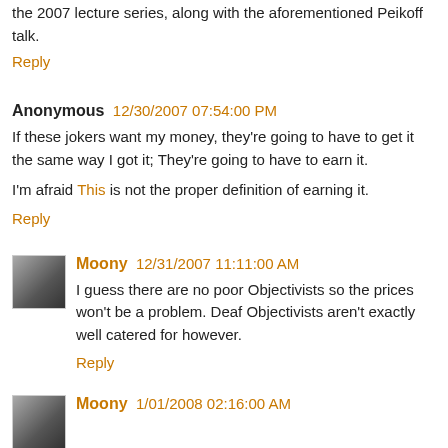the 2007 lecture series, along with the aforementioned Peikoff talk.
Reply
Anonymous 12/30/2007 07:54:00 PM
If these jokers want my money, they're going to have to get it the same way I got it; They're going to have to earn it.
I'm afraid This is not the proper definition of earning it.
Reply
Moony 12/31/2007 11:11:00 AM
I guess there are no poor Objectivists so the prices won't be a problem. Deaf Objectivists aren't exactly well catered for however.
Reply
Moony 1/01/2008 02:16:00 AM